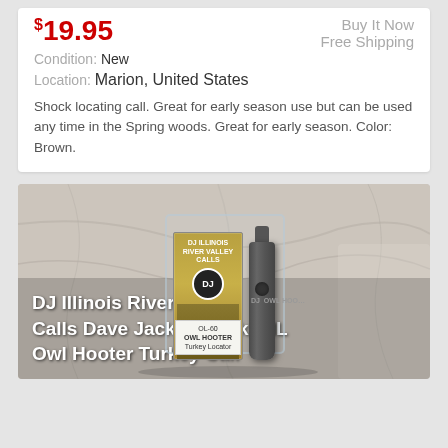$19.95
Buy It Now
Free Shipping
Condition: New
Location: Marion, United States
Shock locating call. Great for early season use but can be used any time in the Spring woods. Great for early season. Color: Brown.
[Figure (photo): Product photo of DJ Illinois River Valley Calls Dave Jackson Pekin IL Owl Hooter Turkey Call, showing the cylindrical dark grey caller with small mouthpiece tip and side button, displayed next to its retail packaging box with golden/brown label showing an owl image and text 'OL-60 OWL HOOTER Turkey Locator', placed on a marble surface.]
DJ Illinois River Valley Calls Dave Jackson Pekin IL Owl Hooter Turkey Call